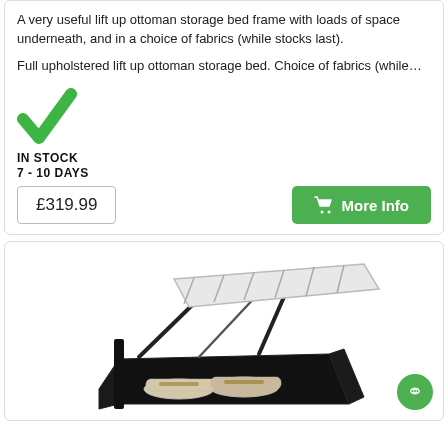A very useful lift up ottoman storage bed frame with loads of space underneath, and in a choice of fabrics (while stocks last).
Full upholstered lift up ottoman storage bed. Choice of fabrics (while…
[Figure (illustration): Green checkmark icon indicating in stock]
IN STOCK
7 - 10 DAYS
£319.99
More Info
[Figure (photo): Black upholstered ottoman storage bed frame with lift-up mechanism open, showing storage space underneath with pillows/bedding inside]